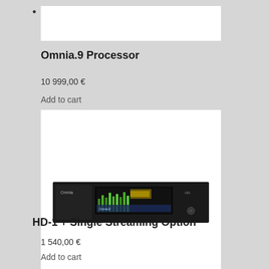[Figure (photo): White rectangle placeholder image for Omnia.9 Processor product]
Omnia.9 Processor
10 999,00 €
Add to cart
[Figure (photo): Photo of HD-1 + Single Streaming Option device — a rack-mounted black unit with a display screen showing green/yellow graphics]
HD-1 + Single Streaming Option
1 540,00 €
Add to cart
[Figure (photo): White rectangle placeholder image at bottom of page]